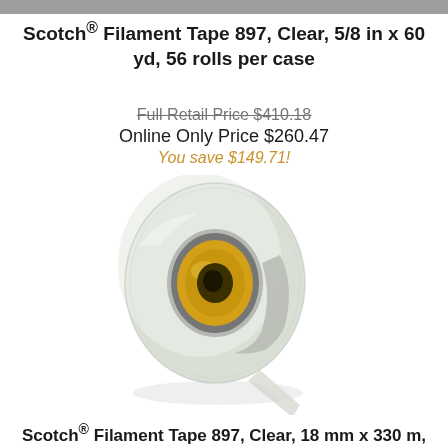Scotch® Filament Tape 897, Clear, 5/8 in x 60 yd, 56 rolls per case
Full Retail Price $410.18
Online Only Price $260.47
You save $149.71!
[Figure (photo): A roll of Scotch Filament Tape 897, clear/translucent with a yellow core, shown at an angle with a strip of tape extending from the bottom right.]
Scotch® Filament Tape 897, Clear, 18 mm x 330 m,